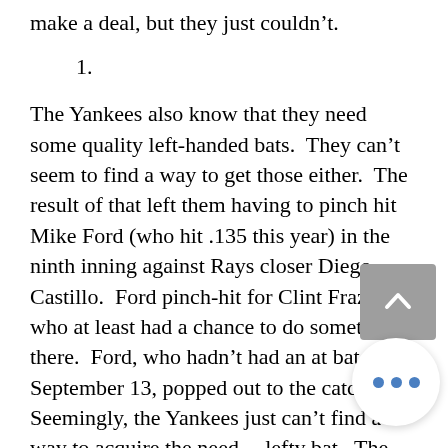The Yankees, we are told, wanted to make a deal, but they just couldn't.
1.
The Yankees also know that they need some quality left-handed bats.  They can't seem to find a way to get those either.  The result of that left them having to pinch hit Mike Ford (who hit .135 this year) in the ninth inning against Rays closer Diego Castillo.  Ford pinch-hit for Clint Frazier, who at least had a chance to do something there.  Ford, who hadn't had an at bat since September 13, popped out to the catcher.  Seemingly, the Yankees just can't find a way to acquire the needed lefty bat.  The asking prices are always too much.